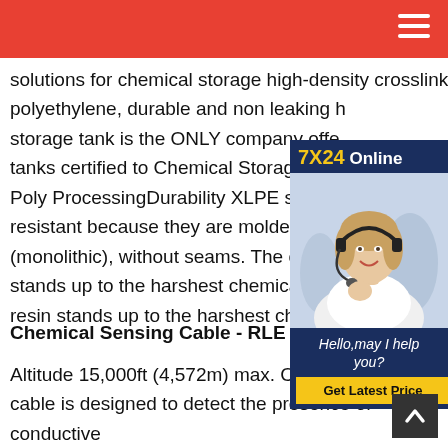solutions for chemical storage high-density crosslinked polyethylene, durable and non leaking h storage tank is the ONLY company offe tanks certified to Chemical Storage Tan Poly ProcessingDurability XLPE storage resistant because they are molded as o (monolithic), without seams. The cross- stands up to the harshest chemicals. Th resin stands up to the harshest chemic
[Figure (photo): Advertisement box with 7X24 Online label, photo of woman with headset smiling, text 'Hello, may I help you?' and 'Get Latest Price' button]
Chemical Sensing Cable - RLE Technologies
Altitude 15,000ft (4,572m) max. Chemical sensing cable is designed to detect the presence of conductive liquid acids and bases, and to resist corrosion from t chemicals. If you are trying to detect non-conductive